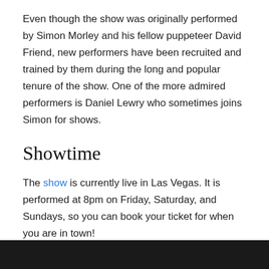Even though the show was originally performed by Simon Morley and his fellow puppeteer David Friend, new performers have been recruited and trained by them during the long and popular tenure of the show. One of the more admired performers is Daniel Lewry who sometimes joins Simon for shows.
Showtime
The show is currently live in Las Vegas. It is performed at 8pm on Friday, Saturday, and Sundays, so you can book your ticket for when you are in town!
Location at the Erotic Heritage Museum
[Figure (photo): Dark photo strip at the bottom of the page, partially visible]